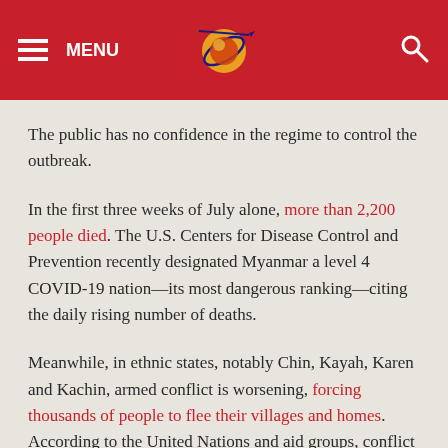MENU [logo] [search]
The public has no confidence in the regime to control the outbreak.
In the first three weeks of July alone, more than 2,200 people died. The U.S. Centers for Disease Control and Prevention recently designated Myanmar a level 4 COVID-19 nation—its most dangerous ranking—citing the daily rising number of deaths.
Meanwhile, in ethnic states, notably Chin, Kayah, Karen and Kachin, armed conflict is worsening, forcing thousands of people to flee their villages and homes. According to the United Nations and aid groups, conflict in Myanmar's remote border regions has displaced an estimated 230,000 residents since the coup.